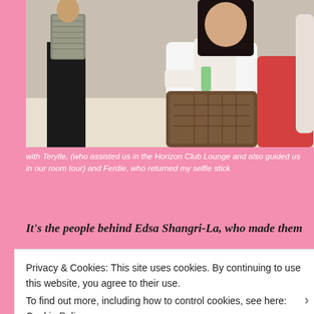[Figure (photo): Photo of people in what appears to be a hotel lounge area. A woman in a white long-sleeve top is seated holding a handbag, and a man in a patterned jacket stands beside her.]
with Terylle, (who assisted us in the Horizon Club Lounge and also guided us in our room tour) and Ferdie, who returned my selfie stick
It's the people behind Edsa Shangri-La, who made them
Privacy & Cookies: This site uses cookies. By continuing to use this website, you agree to their use.
To find out more, including how to control cookies, see here: Cookie Policy